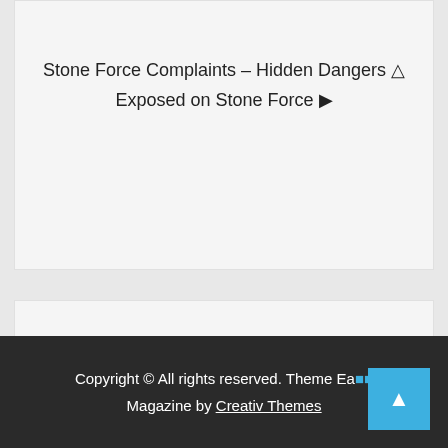Stone Force Complaints – Hidden Dangers ⚠ Exposed on Stone Force ▶
Search
Search
Copyright © All rights reserved. Theme Easy Magazine by Creativ Themes